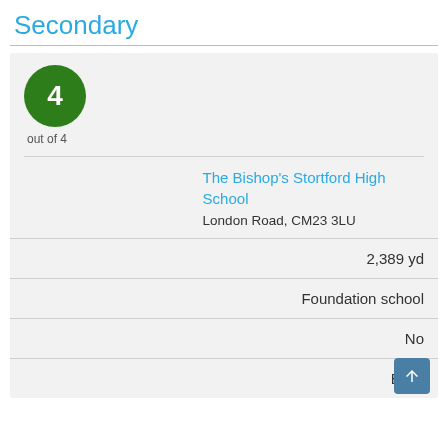Secondary
4 out of 4
The Bishop's Stortford High School
London Road, CM23 3LU
2,389 yd
Foundation school
No
Boys